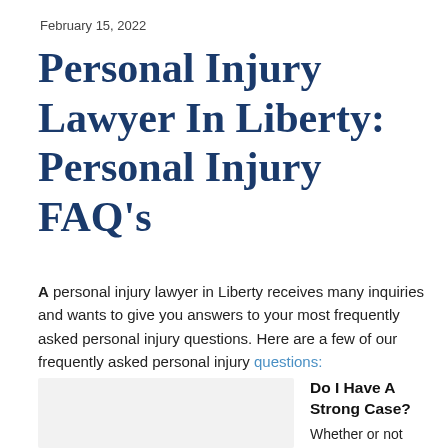February 15, 2022
Personal Injury Lawyer In Liberty: Personal Injury FAQ’s
A personal injury lawyer in Liberty receives many inquiries and wants to give you answers to your most frequently asked personal injury questions. Here are a few of our frequently asked personal injury questions:
[Figure (other): Gray placeholder box for an image]
Do I Have A Strong Case?
Whether or not you